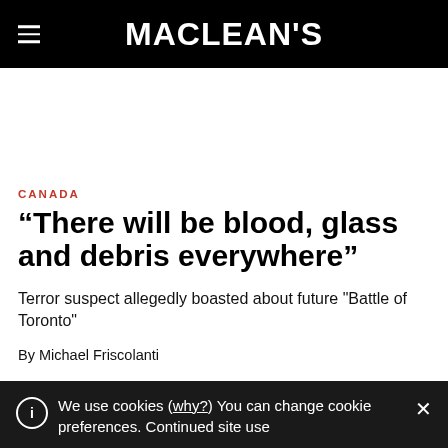MACLEAN'S
CANADA
“There will be blood, glass and debris everywhere”
Terror suspect allegedly boasted about future "Battle of Toronto"
By Michael Friscolanti
We use cookies (why?) You can change cookie preferences. Continued site use